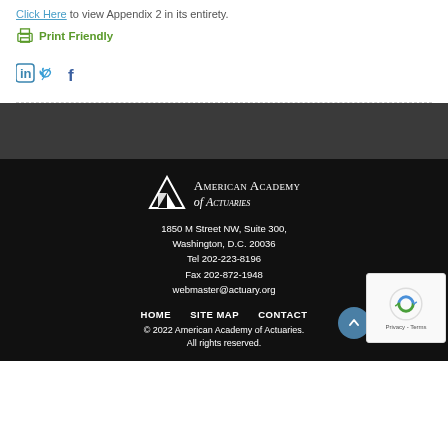Click Here to view Appendix 2 in its entirety.
Print Friendly
[Figure (illustration): Social media icons: LinkedIn, Twitter, Facebook in blue]
American Academy of Actuaries
1850 M Street NW, Suite 300, Washington, D.C. 20036
Tel 202-223-8196
Fax 202-872-1948
webmaster@actuary.org
HOME  SITE MAP  CONTACT
© 2022 American Academy of Actuaries. All rights reserved.